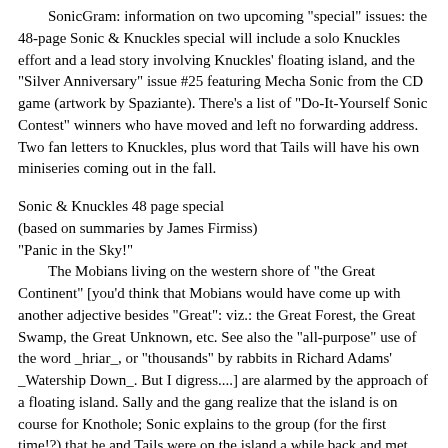SonicGram: information on two upcoming "special" issues: the 48-page Sonic & Knuckles special will include a solo Knuckles effort and a lead story involving Knuckles' floating island, and the "Silver Anniversary" issue #25 featuring Mecha Sonic from the CD game (artwork by Spaziante). There's a list of "Do-It-Yourself Sonic Contest" winners who have moved and left no forwarding address. Two fan letters to Knuckles, plus word that Tails will have his own miniseries coming out in the fall.
Sonic & Knuckles 48 page special
(based on summaries by James Firmiss)
"Panic in the Sky!"
     The Mobians living on the western shore of "the Great Continent" [you'd think that Mobians would have come up with another adjective besides "Great": viz.: the Great Forest, the Great Swamp, the Great Unknown, etc. See also the "all-purpose" use of the word _hriar_, or "thousands" by rabbits in Richard Adams' _Watership Down_. But I digress....] are alarmed by the approach of a floating island. Sally and the gang realize that the island is on course for Knothole; Sonic explains to the group (for the first time!?) that he and Tails were on the island a while back and met Knuckles. Antoine flies Sonic and Tails in the turboprop, dodging antiaircraft fire from the underside of the island. After landing on the island, seeing giant mushrooms and avoiding some traps, Sonic falls into one trap and again meets Knuckles. Since this is the second time Sonic has been caught trespassing,